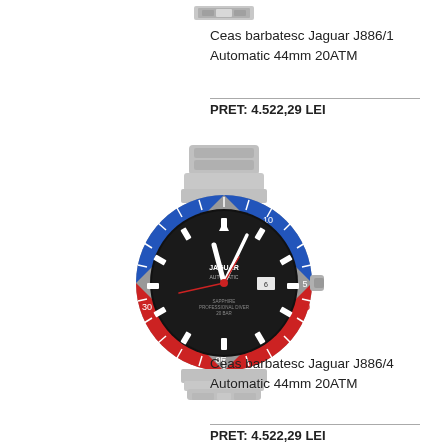[Figure (photo): Partial view of a watch clasp/bracelet at the top of the page]
Ceas barbatesc Jaguar J886/1
Automatic 44mm 20ATM
PRET: 4.522,29 LEI
[Figure (photo): Jaguar J886/4 men's automatic watch with black dial and red/blue bezel on steel bracelet]
Ceas barbatesc Jaguar J886/4
Automatic 44mm 20ATM
PRET: 4.522,29 LEI